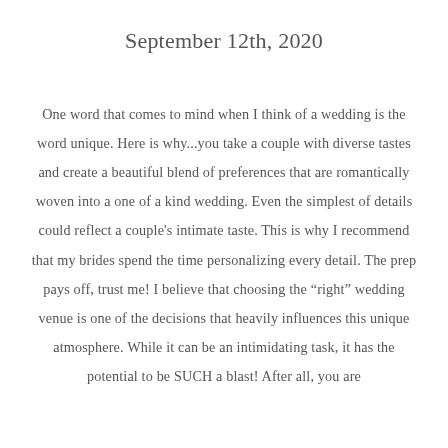September 12th, 2020
One word that comes to mind when I think of a wedding is the word unique. Here is why...you take a couple with diverse tastes and create a beautiful blend of preferences that are romantically woven into a one of a kind wedding. Even the simplest of details could reflect a couple's intimate taste. This is why I recommend that my brides spend the time personalizing every detail. The prep pays off, trust me! I believe that choosing the “right” wedding venue is one of the decisions that heavily influences this unique atmosphere. While it can be an intimidating task, it has the potential to be SUCH a blast! After all, you are